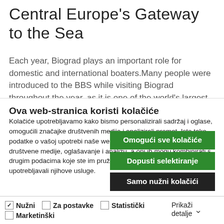Central Europe's Gateway to the Sea
Each year, Biograd plays an important role for domestic and international boaters.Many people were introduced to the BBS while visiting Biograd throughout the year, as it is one of the world's largest yacht charter destinations, or through its world
Ova web-stranica koristi kolačiće
Kolačiće upotrebljavamo kako bismo personalizirali sadržaj i oglase, omogućili značajke društvenih medija i analizirali promet. Isto tako, podatke o vašoj upotrebi naše web-lokacije dijelimo s partnerima za društvene medije, oglašavanje i analizu, a oni ih mogu kombinirati s drugim podacima koje ste im pružili ili koje su prikupili dok ste upotrebljavali njihove usluge.
Omogući sve kolačiće
Dopusti selektiranje
Samo nužni kolačići
Nužni  Za postavke  Statistički  Marketinški  Prikaži detalje